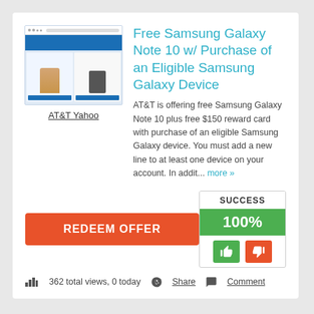[Figure (screenshot): Screenshot of AT&T Yahoo website showing a woman, a phone, and blue banner]
AT&T Yahoo
Free Samsung Galaxy Note 10 w/ Purchase of an Eligible Samsung Galaxy Device
AT&T is offering free Samsung Galaxy Note 10 plus free $150 reward card with purchase of an eligible Samsung Galaxy device. You must add a new line to at least one device on your account. In addit... more »
REDEEM OFFER
SUCCESS
100%
362 total views, 0 today
Share
Comment